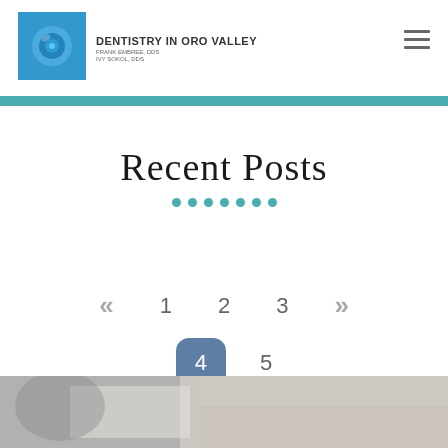DENTISTRY IN ORO VALLEY — FRANK EMBREE DDS, IVY SOKOL DDS
Recent Posts
• • • • • • •
« 1 2 3 » 4 5
[Figure (photo): Bottom portion of a webpage showing a blurred photo of a person in a dental or office setting]